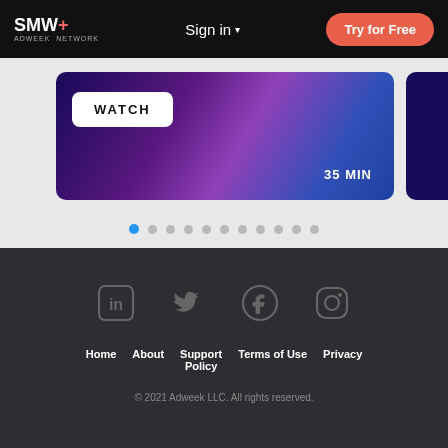SMW+ Sign in ▾ Try for Free
[Figure (screenshot): A video content card with purple/blue gradient background showing a WATCH button and 35 MIN duration label, with a partially visible second card to the right]
[Figure (infographic): Carousel dots indicator row: one active blue dot followed by ten gray dots]
LinkedIn Twitter Facebook Instagram icons | Home About Support Policy Terms of Use Privacy | © 2021 Adweek LLC. All rights reserved.